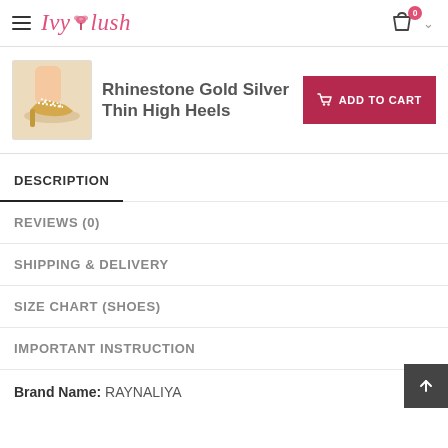Ivy Lush - navigation header with hamburger menu, logo, cart icon with badge 0
Rhinestone Gold Silver Thin High Heels
[Figure (photo): Photo of gold rhinestone high heel sandals on a model's feet]
ADD TO CART
DESCRIPTION
REVIEWS (0)
SHIPPING & DELIVERY
SIZE CHART (SHOES)
IMPORTANT INSTRUCTION
Brand Name: RAYNALIYA